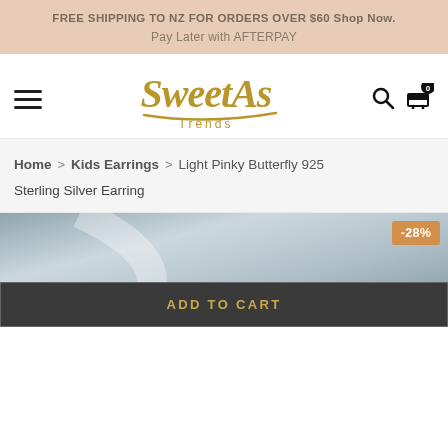FREE SHIPPING TO NZ FOR ORDERS OVER $60 Shop Now.
Pay Later with AFTERPAY
[Figure (logo): Sweet As Trends cursive gold logo with hamburger menu, search and cart icons]
Home > Kids Earrings > Light Pinky Butterfly 925 Sterling Silver Earring
[Figure (photo): Product image area with metallic grey/silver gradient background, -28% discount badge in orange]
ADD TO CART